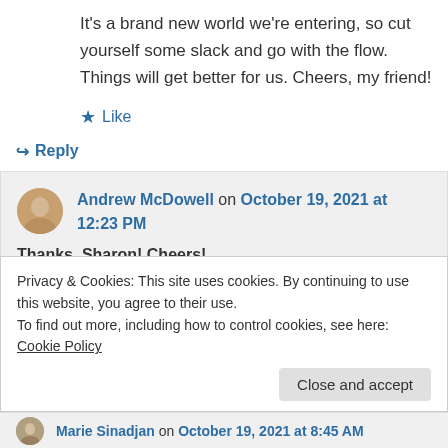It's a brand new world we're entering, so cut yourself some slack and go with the flow. Things will get better for us. Cheers, my friend!
★ Like
↪ Reply
Andrew McDowell on October 19, 2021 at 12:23 PM
Thanks, Sharon! Cheers!
Privacy & Cookies: This site uses cookies. By continuing to use this website, you agree to their use.
To find out more, including how to control cookies, see here: Cookie Policy
Close and accept
Marie Sinadjan on October 19, 2021 at 8:45 AM